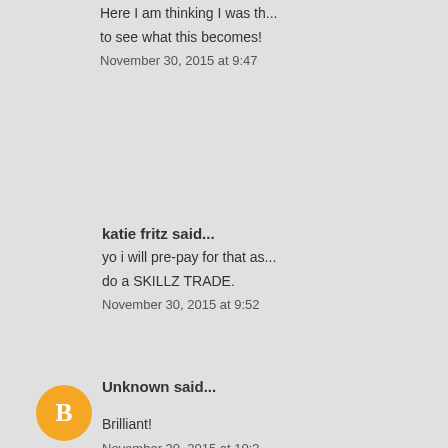Here I am thinking I was th... to see what this becomes!
November 30, 2015 at 9:47
katie fritz said...
yo i will pre-pay for that as... do a SKILLZ TRADE.
November 30, 2015 at 9:52
Unknown said...
Brilliant!
November 30, 2015 at 10:3
Sally said...
The final sentences of you... logistics of expansion and
November 30, 2015 at 10:4
A. Nightmare said...